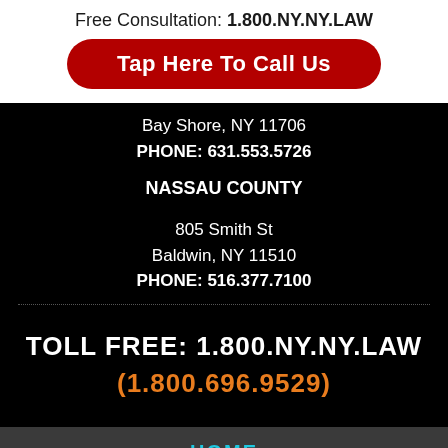Free Consultation: 1.800.NY.NY.LAW
Tap Here To Call Us
Bay Shore, NY 11706
PHONE: 631.553.5726
NASSAU COUNTY
805 Smith St
Baldwin, NY 11510
PHONE: 516.377.7100
TOLL FREE: 1.800.NY.NY.LAW
(1.800.696.9529)
HOME